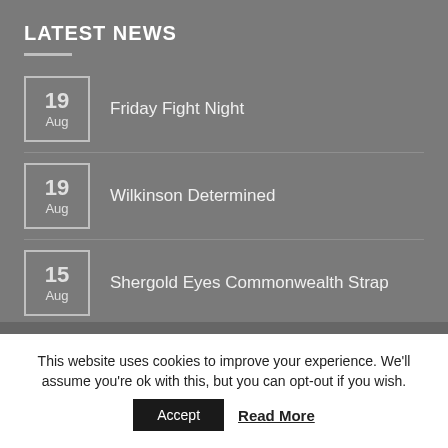LATEST NEWS
19 Aug — Friday Fight Night
19 Aug — Wilkinson Determined
15 Aug — Shergold Eyes Commonwealth Strap
01 Aug — Rumble On The Riviera
This website uses cookies to improve your experience. We'll assume you're ok with this, but you can opt-out if you wish.
Accept   Read More